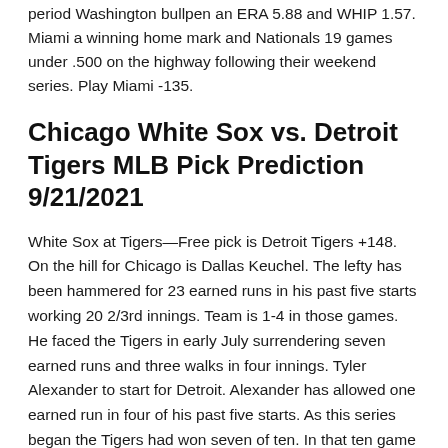period Washington bullpen an ERA 5.88 and WHIP 1.57. Miami a winning home mark and Nationals 19 games under .500 on the highway following their weekend series. Play Miami -135.
Chicago White Sox vs. Detroit Tigers MLB Pick Prediction 9/21/2021
White Sox at Tigers—Free pick is Detroit Tigers +148. On the hill for Chicago is Dallas Keuchel. The lefty has been hammered for 23 earned runs in his past five starts working 20 2/3rd innings. Team is 1-4 in those games. He faced the Tigers in early July surrendering seven earned runs and three walks in four innings. Tyler Alexander to start for Detroit. Alexander has allowed one earned run in four of his past five starts. As this series began the Tigers had won seven of ten. In that ten game period Tigers bullpen an ERA 3.60 and opponents batting .311. Play